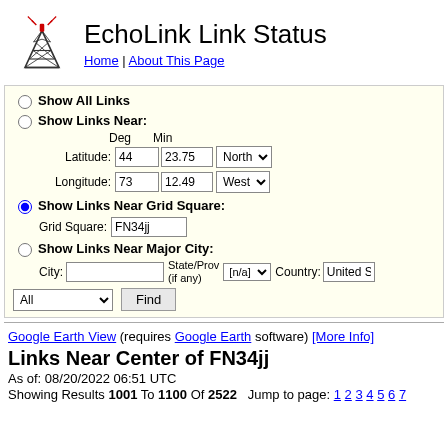EchoLink Link Status
Home | About This Page
Show All Links
Show Links Near:
Latitude: 44 deg 23.75 min North
Longitude: 73 deg 12.49 min West
Show Links Near Grid Square: FN34jj
Show Links Near Major City: City: State/Prov (if any): [n/a] Country: United S
All Find
Google Earth View (requires Google Earth software) [More Info]
Links Near Center of FN34jj
As of: 08/20/2022 06:51 UTC
Showing Results 1001 To 1100 Of 2522   Jump to page: 1 2 3 4 5 6 7